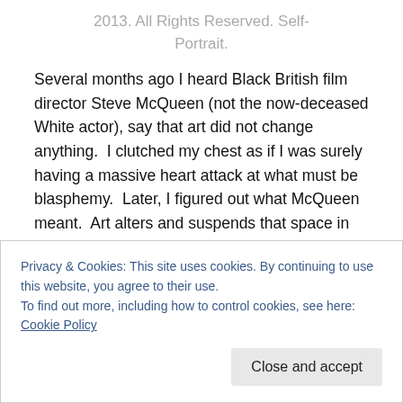2013. All Rights Reserved. Self-Portrait.
Several months ago I heard Black British film director Steve McQueen (not the now-deceased White actor), say that art did not change anything.  I clutched my chest as if I was surely having a massive heart attack at what must be blasphemy.  Later, I figured out what McQueen meant.  Art alters and suspends that space in your head where your creativity and out-of-the-box thinking is located, and then YOU might be able to change yourself or your
Privacy & Cookies: This site uses cookies. By continuing to use this website, you agree to their use.
To find out more, including how to control cookies, see here: Cookie Policy